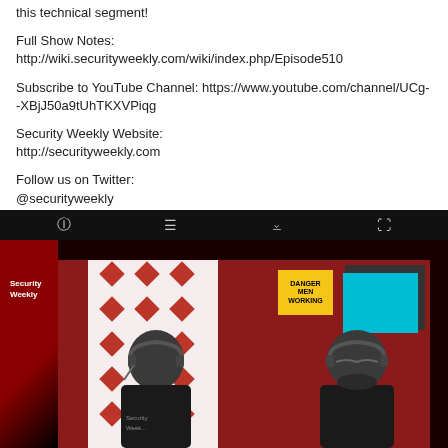this technical segment!
Full Show Notes: http://wiki.securityweekly.com/wiki/index.php/Episode510
Subscribe to YouTube Channel: https://www.youtube.com/channel/UCg--XBjJ50a9tUhTKXVPiqg
Security Weekly Website:
http://securityweekly.com
Follow us on Twitter:
@securityweekly
[Figure (screenshot): Video player showing two men wearing headsets and black Security Weekly shirts sitting at a studio desk with a red background, diamond grid panel, and a Danger Men Working sign. The Security Weekly logo is visible in the upper left of the video frame. A toolbar with info, list, share, and fullscreen icons is at the top of the player.]